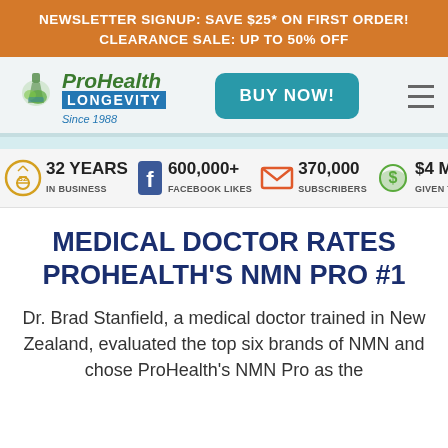NEWSLETTER SIGNUP: SAVE $25* ON FIRST ORDER!
CLEARANCE SALE: UP TO 50% OFF
[Figure (logo): ProHealth Longevity logo with flask/leaf icon, Since 1988]
BUY NOW!
[Figure (infographic): Stats bar: 32 Years in Business, 600,000+ Facebook Likes, 370,000 Subscribers, $4 Million Given to Research]
MEDICAL DOCTOR RATES PROHEALTH'S NMN PRO #1
Dr. Brad Stanfield, a medical doctor trained in New Zealand, evaluated the top six brands of NMN and chose ProHealth's NMN Pro as the